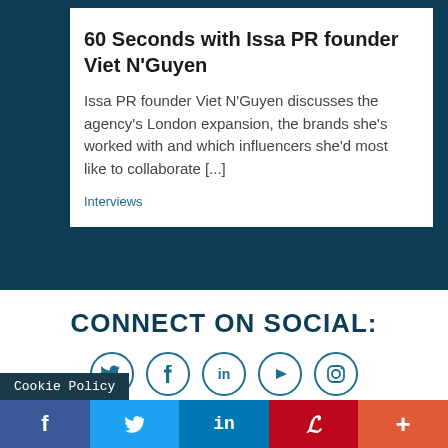60 Seconds with Issa PR founder Viet N'Guyen
Issa PR founder Viet N'Guyen discusses the agency's London expansion, the brands she's worked with and which influencers she'd most like to collaborate [...]
Interviews
CONNECT ON SOCIAL:
[Figure (infographic): Five circular social media icons in dark teal outline style: Twitter bird, Facebook f, LinkedIn in, YouTube play button, Instagram camera]
Cookie Policy
[Figure (infographic): Social share bar with five buttons: Facebook (blue), Twitter (light blue), LinkedIn (dark blue), Pinterest (red), More/Plus (orange-red)]